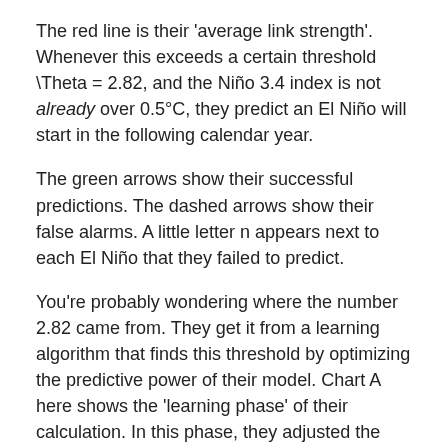The red line is their 'average link strength'. Whenever this exceeds a certain threshold \Theta = 2.82, and the Niño 3.4 index is not already over 0.5°C, they predict an El Niño will start in the following calendar year.
The green arrows show their successful predictions. The dashed arrows show their false alarms. A little letter n appears next to each El Niño that they failed to predict.
You're probably wondering where the number 2.82 came from. They get it from a learning algorithm that finds this threshold by optimizing the predictive power of their model. Chart A here shows the 'learning phase' of their calculation. In this phase, they adjusted the threshold \Theta so their procedure would do a good job. Chart B shows the 'testing phase'. Here they used the value of \Theta chosen in the learning phase, and checked to see how good a job it did. I'll let you read their paper for more details on how they chose \Theta.
But what about their prediction now? That's the green arrow at far right here: